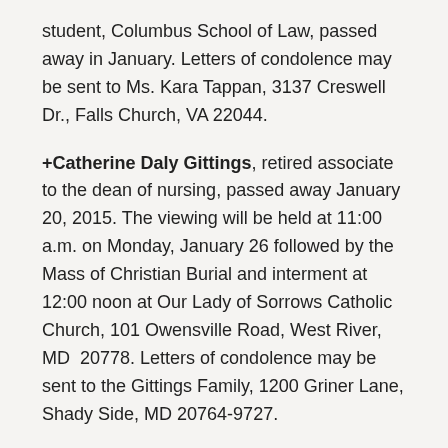student, Columbus School of Law, passed away in January. Letters of condolence may be sent to Ms. Kara Tappan, 3137 Creswell Dr., Falls Church, VA 22044.
+Catherine Daly Gittings, retired associate to the dean of nursing, passed away January 20, 2015. The viewing will be held at 11:00 a.m. on Monday, January 26 followed by the Mass of Christian Burial and interment at 12:00 noon at Our Lady of Sorrows Catholic Church, 101 Owensville Road, West River, MD 20778. Letters of condolence may be sent to the Gittings Family, 1200 Griner Lane, Shady Side, MD 20764-9727.
+Dr. Lois Hoskins, Dean, School of Nursing (1985-